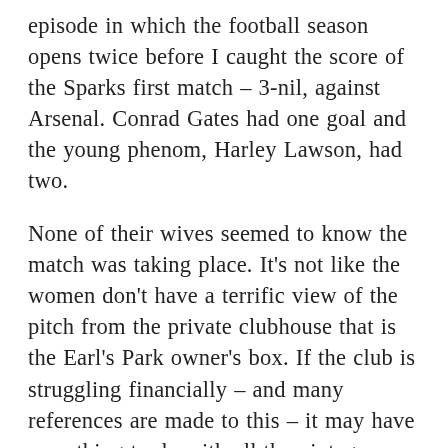episode in which the football season opens twice before I caught the score of the Sparks first match – 3-nil, against Arsenal. Conrad Gates had one goal and the young phenom, Harley Lawson, had two.
None of their wives seemed to know the match was taking place. It's not like the women don't have a terrific view of the pitch from the private clubhouse that is the Earl's Park owner's box. If the club is struggling financially – and many references are made to this – it may have something to do with all the vintage champagne the wives suck down between those paneled walls and soft carpets. The box is presided over by the Sparks majority owner and semi-out lesbian Hazel Bailey, a former sports agent and full-tilt control freak. There's something likeable about Hazel. She's the only woman in the show who actually cares